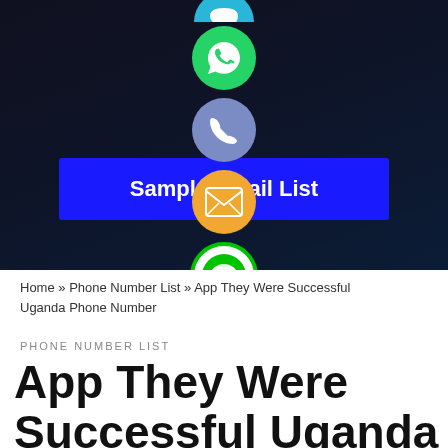[Figure (screenshot): Dark background with social media sharing icons (blue chat, WhatsApp green, phone blue-purple, email orange, LINE green, Viber purple, green plus) arranged vertically in center, and a blue 'Sample Email List' button overlaid]
Home » Phone Number List » App They Were Successful Uganda Phone Number
PHONE NUMBER LIST
App They Were Successful Uganda Phone Number